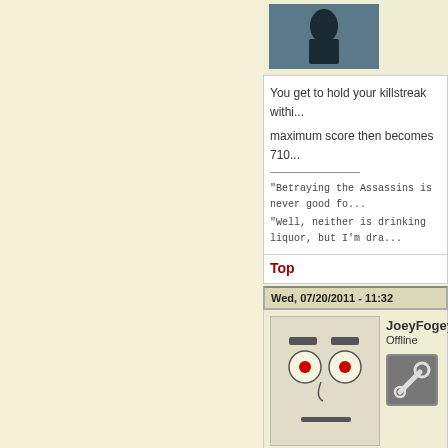[Figure (photo): Dark avatar/profile image of a character, partially visible at top]
You get to hold your killstreak withi... maximum score then becomes 710...
"Betraying the Assassins is never good fo... "Well, neither is drinking liquor, but I'm dra...
Top
Wed, 07/20/2011 - 11:32
JoeyFogey
Offline
[Figure (illustration): Hand-drawn cartoon face with gray background, dark eyebrows, round eyes with red pupils, small nose curve, and frown line]
[Figure (photo): Wrench/tools icon, small square image with dark metallic appearance]
Yay for exploits! 😁